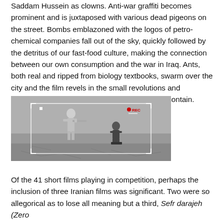Saddam Hussein as clowns. Anti-war graffiti becomes prominent and is juxtaposed with various dead pigeons on the street. Bombs emblazoned with the logos of petro-chemical companies fall out of the sky, quickly followed by the detritus of our fast-food culture, making the connection between our own consumption and the war in Iraq. Ants, both real and ripped from biology textbooks, swarm over the city and the film revels in the small revolutions and moments of beauty that only a vibrant city can contain.
[Figure (photo): A grayscale 3D-rendered image showing a robotic soldier figure aiming a rifle at a kneeling human figure on a cracked desert ground. A camera viewfinder overlay with a red REC indicator is visible in the upper portion of the image.]
Of the 41 short films playing in competition, perhaps the inclusion of three Iranian films was significant. Two were so allegorical as to lose all meaning but a third, Sefr darajeh (Zero